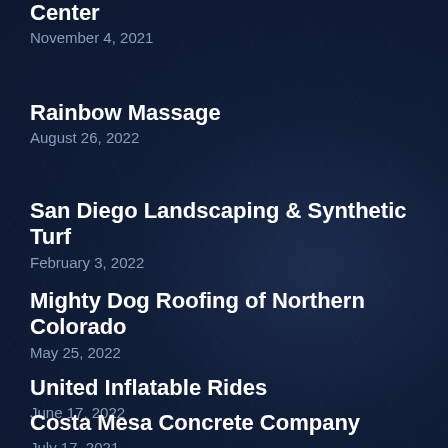Center
November 4, 2021
Rainbow Massage
August 26, 2022
San Diego Landscaping & Synthetic Turf
February 3, 2022
Mighty Dog Roofing of Northern Colorado
May 25, 2022
United Inflatable Rides
June 17, 2022
Costa Mesa Concrete Company
July 17, 2021